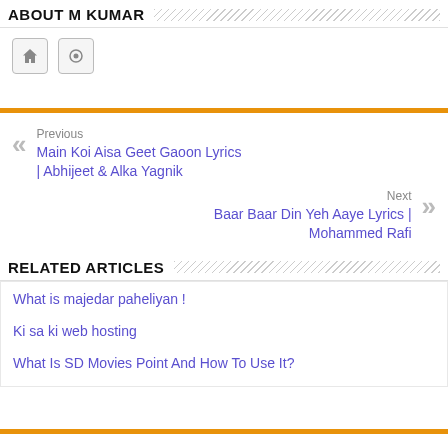ABOUT M KUMAR
[Figure (other): Two icon buttons: a home icon and a camera/flickr icon, styled as small gray bordered squares]
Previous
Main Koi Aisa Geet Gaoon Lyrics | Abhijeet & Alka Yagnik
Next
Baar Baar Din Yeh Aaye Lyrics | Mohammed Rafi
RELATED ARTICLES
What is majedar paheliyan !
Ki sa ki web hosting
What Is SD Movies Point And How To Use It?